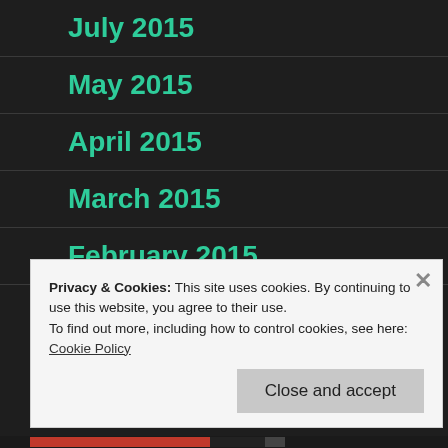July 2015
May 2015
April 2015
March 2015
February 2015
Privacy & Cookies: This site uses cookies. By continuing to use this website, you agree to their use.
To find out more, including how to control cookies, see here: Cookie Policy
Close and accept